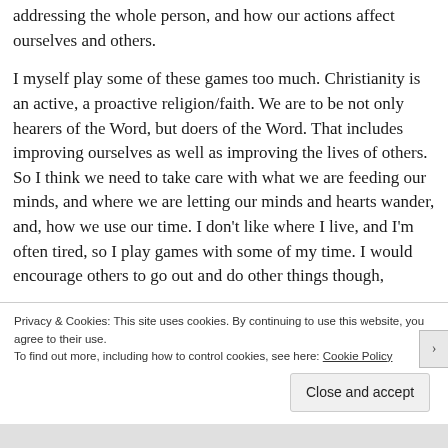addressing the whole person, and how our actions affect ourselves and others.
I myself play some of these games too much. Christianity is an active, a proactive religion/faith. We are to be not only hearers of the Word, but doers of the Word. That includes improving ourselves as well as improving the lives of others. So I think we need to take care with what we are feeding our minds, and where we are letting our minds and hearts wander, and, how we use our time. I don't like where I live, and I'm often tired, so I play games with some of my time. I would encourage others to go out and do other things though,
Privacy & Cookies: This site uses cookies. By continuing to use this website, you agree to their use.
To find out more, including how to control cookies, see here: Cookie Policy
Close and accept